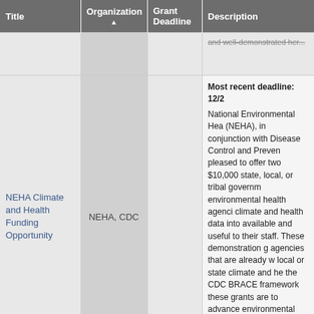| Title | Organization ▲ | Grant Deadline | Description |
| --- | --- | --- | --- |
|  |  |  | and well-demonstrated her... |
| NEHA Climate and Health Funding Opportunity | NEHA, CDC |  | Most recent deadline: 12/2... National Environmental Hea... (NEHA), in conjunction with... Disease Control and Preven... pleased to offer two $10,000... state, local, or tribal governm... environmental health agenci... climate and health data into... available and useful to their... staff. These demonstration g... agencies that are already w... local or state climate and he... the CDC BRACE framework... these grants are to advance... environmental health depart... to use their data to inform ef... climate change. |
|  |  |  | Deadline passed. Most rec... April 22, 2022. The Catalys... accelerate the pace and pr... |